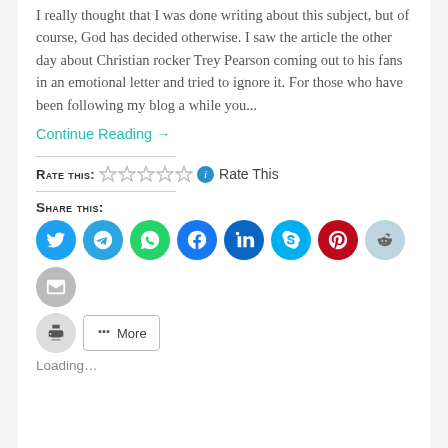I really thought that I was done writing about this subject, but of course, God has decided otherwise. I saw the article the other day about Christian rocker Trey Pearson coming out to his fans in an emotional letter and tried to ignore it. For those who have been following my blog a while you...
Continue Reading →
Rate this: ☆☆☆☆☆ ⓘ Rate This
Share this:
[Figure (infographic): Row of social media share icon buttons: Twitter (blue), Telegram (blue), WhatsApp (green), Facebook (dark blue), LinkedIn (dark blue), Skype (teal), Pinterest (red), Reddit (light blue), Email (gray). Second row: Print (gray circle), More button.]
Loading...